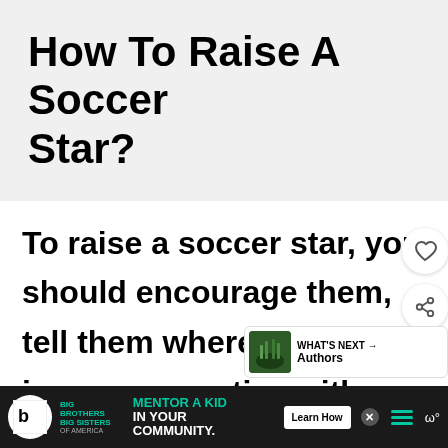How To Raise A Soccer Star?
To raise a soccer star, you should encourage them, tell them where to improve, practice with them, watch games together, and enroll them in a soccer camp or academy.
[Figure (screenshot): Advertisement bar at the bottom showing Big Brothers Big Sisters organization with text MENTOR A KID IN YOUR COMMUNITY and a Learn How button]